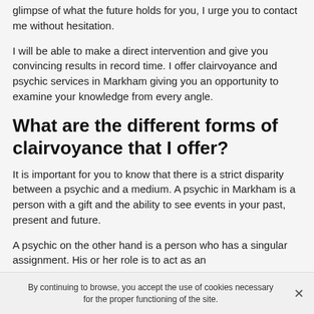glimpse of what the future holds for you, I urge you to contact me without hesitation.
I will be able to make a direct intervention and give you convincing results in record time. I offer clairvoyance and psychic services in Markham giving you an opportunity to examine your knowledge from every angle.
What are the different forms of clairvoyance that I offer?
It is important for you to know that there is a strict disparity between a psychic and a medium. A psychic in Markham is a person with a gift and the ability to see events in your past, present and future.
A psychic on the other hand is a person who has a singular assignment. His or her role is to act as an
By continuing to browse, you accept the use of cookies necessary for the proper functioning of the site.